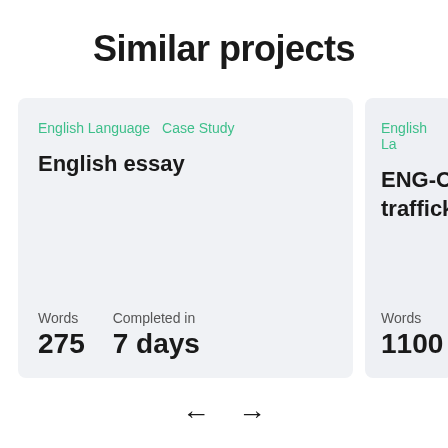Similar projects
English Language   Case Study
English essay
Words: 275   Completed in: 7 days
English La...
ENG-Or... trafficking...
Words: 1100